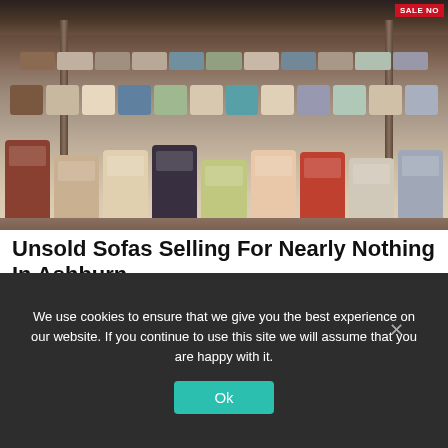[Figure (photo): Aerial view of a large furniture warehouse showroom filled with rows of sofas and couches in various colors including brown, grey, blue, green, orange, and purple. A 'SALE NOW' banner is visible in the top right corner.]
Unsold Sofas Selling For Nearly Nothing In Ashburn
Sofa | Search Ads | Sponsored
We use cookies to ensure that we give you the best experience on our website. If you continue to use this site we will assume that you are happy with it.
Ok